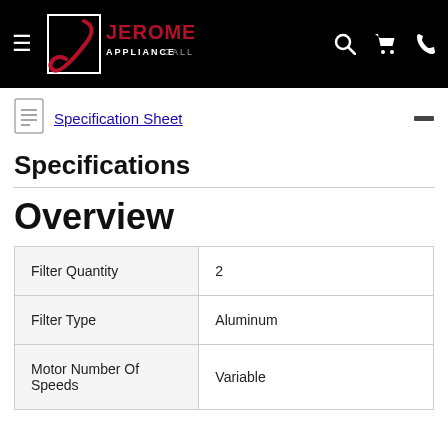Jerome's Appliance Gallery
Specification Sheet
Specifications
Overview
|  |  |
| --- | --- |
| Filter Quantity | 2 |
| Filter Type | Aluminum |
| Motor Number Of Speeds | Variable |